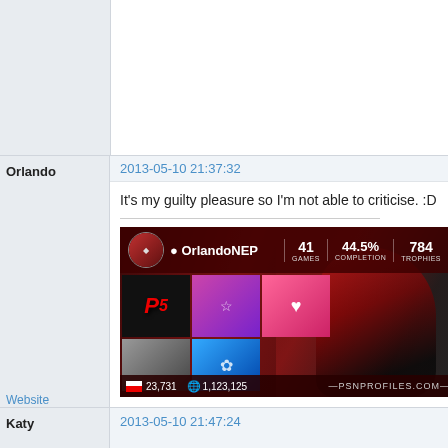(previous post content, partially visible)
Orlando
2013-05-10 21:37:32
It's my guilty pleasure so I'm not able to criticise. :D
[Figure (screenshot): PSNProfiles.com profile card for OrlandoNEP showing 41 games, 44.5% completion, 784 trophies, game thumbnails, rank 23,731, and world points 1,123,125]
Website
Katy
2013-05-10 21:47:24